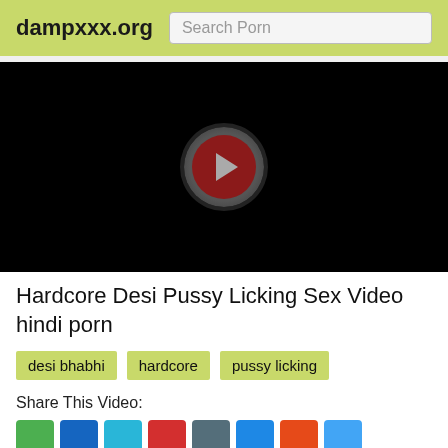dampxxx.org
[Figure (screenshot): Black video player with a circular play button (dark gray outer ring, dark red inner circle, gray triangle play icon in center)]
Hardcore Desi Pussy Licking Sex Video hindi porn
desi bhabhi
hardcore
pussy licking
Share This Video: